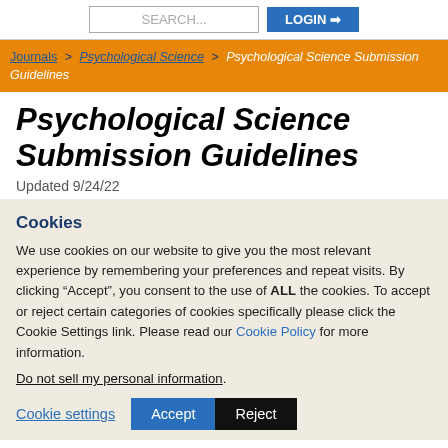SEARCH... | LOGIN
Journals > Psychological Science > Psychological Science Submission Guidelines
Psychological Science Submission Guidelines
Updated 9/24/22
Cookies
We use cookies on our website to give you the most relevant experience by remembering your preferences and repeat visits. By clicking “Accept”, you consent to the use of ALL the cookies. To accept or reject certain categories of cookies specifically please click the Cookie Settings link. Please read our Cookie Policy for more information.
Do not sell my personal information.
Cookie settings | Accept | Reject